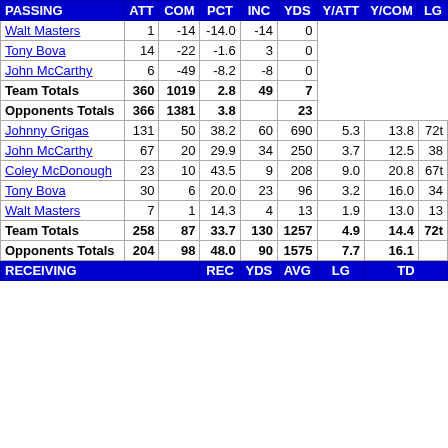|  | ATT | COM | PCT | INC | YDS | Y/ATT | Y/COM | LG |
| --- | --- | --- | --- | --- | --- | --- | --- | --- |
| Walt Masters | 1 | -14 | -14.0 | -14 | 0 |  |  |  |
| Tony Bova | 14 | -22 | -1.6 | 3 | 0 |  |  |  |
| John McCarthy | 6 | -49 | -8.2 | -8 | 0 |  |  |  |
| Team Totals | 360 | 1019 | 2.8 | 49 | 7 |  |  |  |
| Opponents Totals | 366 | 1381 | 3.8 |  | 23 |  |  |  |
| PASSING header | ATT | COM | PCT | INC | YDS | Y/ATT | Y/COM | LG |
| Johnny Grigas | 131 | 50 | 38.2 | 60 | 690 | 5.3 | 13.8 | 72t |
| John McCarthy | 67 | 20 | 29.9 | 34 | 250 | 3.7 | 12.5 | 38 |
| Coley McDonough | 23 | 10 | 43.5 | 9 | 208 | 9.0 | 20.8 | 67t |
| Tony Bova | 30 | 6 | 20.0 | 23 | 96 | 3.2 | 16.0 | 34 |
| Walt Masters | 7 | 1 | 14.3 | 4 | 13 | 1.9 | 13.0 | 13 |
| Team Totals | 258 | 87 | 33.7 | 130 | 1257 | 4.9 | 14.4 | 72t |
| Opponents Totals | 204 | 98 | 48.0 | 90 | 1575 | 7.7 | 16.1 |  |